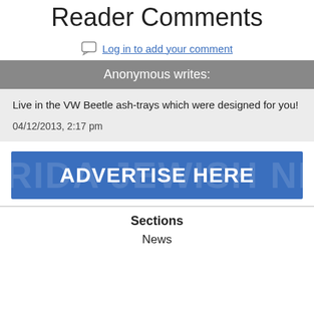Reader Comments
Log in to add your comment
Anonymous writes:
Live in the VW Beetle ash-trays which were designed for you!
04/12/2013, 2:17 pm
[Figure (other): Blue advertisement banner with bold white text reading ADVERTISE HERE and a faint watermark of FLORIDA JEWISH NEWS]
Sections
News